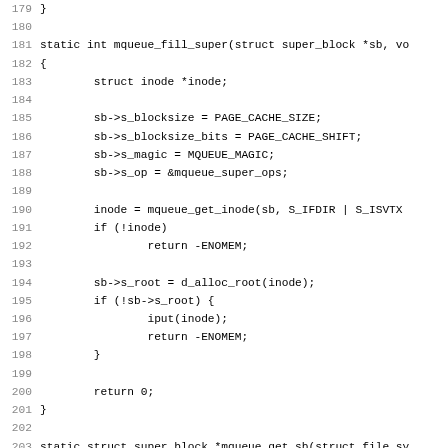Source code listing lines 179-211, showing mqueue_fill_super and mqueue_get_sb and init_once functions in C